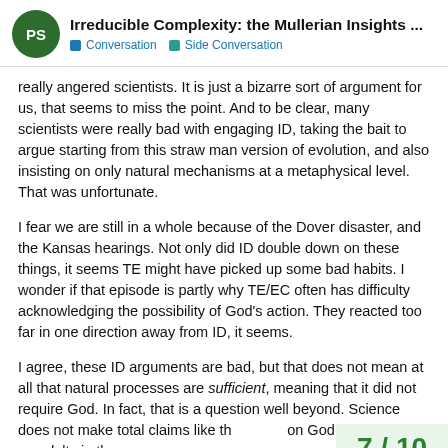Irreducible Complexity: the Mullerian Insights ... | Conversation | Side Conversation
really angered scientists. It is just a bizarre sort of argument for us, that seems to miss the point. And to be clear, many scientists were really bad with engaging ID, taking the bait to argue starting from this straw man version of evolution, and also insisting on only natural mechanisms at a metaphysical level. That was unfortunate.
I fear we are still in a whole because of the Dover disaster, and the Kansas hearings. Not only did ID double down on these things, it seems TE might have picked up some bad habits. I wonder if that episode is partly why TE/EC often has difficulty acknowledging the possibility of God's action. They reacted too far in one direction away from ID, it seems.
I agree, these ID arguments are bad, but that does not mean at all that natural processes are sufficient, meaning that it did not require God. In fact, that is a question well beyond. Science does not make total claims like th... on God. There were no adults in the room,